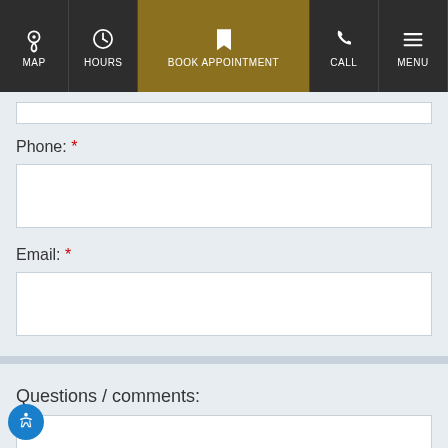MAP | HOURS | BOOK APPOINTMENT | CALL | MENU
Phone: *
[Figure (screenshot): Empty white input field for phone number]
Email: *
[Figure (screenshot): Empty white input field for email address]
Questions / comments:
[Figure (screenshot): Empty white textarea for questions and comments]